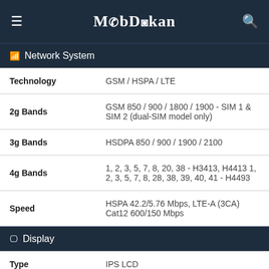MobDokan
Network System
| Feature | Value |
| --- | --- |
| Technology | GSM / HSPA / LTE |
| 2g Bands | GSM 850 / 900 / 1800 / 1900 - SIM 1 & SIM 2 (dual-SIM model only) |
| 3g Bands | HSDPA 850 / 900 / 1900 / 2100 |
| 4g Bands | 1, 2, 3, 5, 7, 8, 20, 38 - H3413, H4413 1, 2, 3, 5, 7, 8, 28, 38, 39, 40, 41 - H4493 |
| Speed | HSPA 42.2/5.76 Mbps, LTE-A (3CA) Cat12 600/150 Mbps |
Display
| Feature | Value |
| --- | --- |
| Type | IPS LCD |